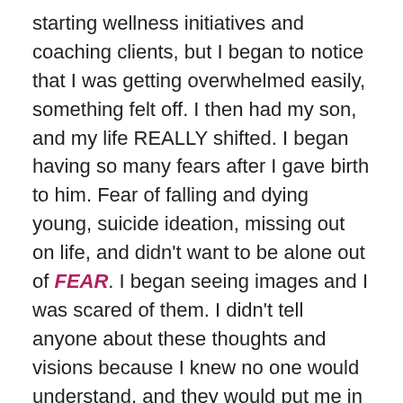starting wellness initiatives and coaching clients, but I began to notice that I was getting overwhelmed easily, something felt off. I then had my son, and my life REALLY shifted. I began having so many fears after I gave birth to him. Fear of falling and dying young, suicide ideation, missing out on life, and didn't want to be alone out of FEAR. I began seeing images and I was scared of them. I didn't tell anyone about these thoughts and visions because I knew no one would understand, and they would put me in some place away from my kids. SO I kept it a secret and chose to deal with it on my own.

Before I knew it, my body was having